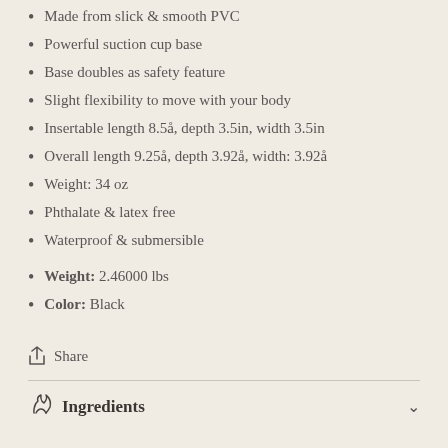Made from slick & smooth PVC
Powerful suction cup base
Base doubles as safety feature
Slight flexibility to move with your body
Insertable length 8.5å, depth 3.5in, width 3.5in
Overall length 9.25å, depth 3.92å, width: 3.92å
Weight: 34 oz
Phthalate & latex free
Waterproof & submersible
Weight: 2.46000 lbs
Color: Black
Share
Ingredients